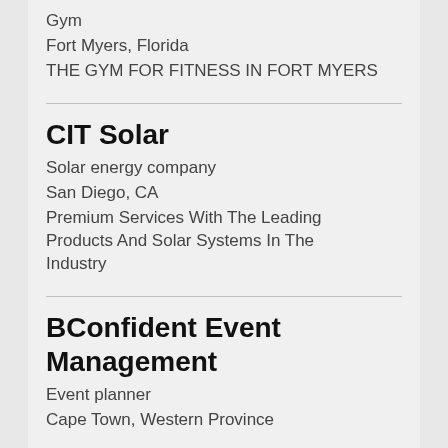Gym
Fort Myers, Florida
THE GYM FOR FITNESS IN FORT MYERS
CIT Solar
Solar energy company
San Diego, CA
Premium Services With The Leading Products And Solar Systems In The Industry
BConfident Event Management
Event planner
Cape Town, Western Province